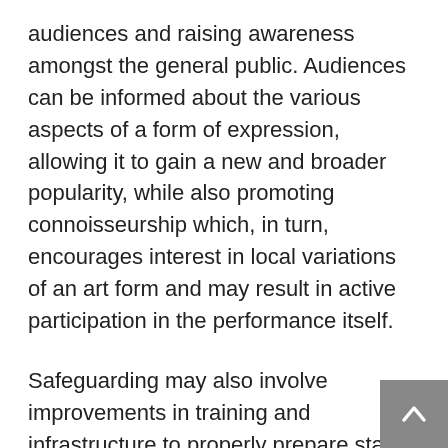audiences and raising awareness amongst the general public. Audiences can be informed about the various aspects of a form of expression, allowing it to gain a new and broader popularity, while also promoting connoisseurship which, in turn, encourages interest in local variations of an art form and may result in active participation in the performance itself.
Safeguarding may also involve improvements in training and infrastructure to properly prepare staff and institutions for preserving the full range of performing arts. In Georgia, students are trained in anthropological fieldwork methods as well as how to record polyphonies, allowing them to create the foundations of a national inventory by creating a database.